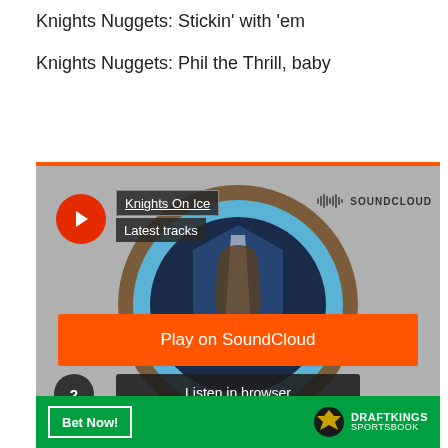Knights Nuggets: Stickin' with 'em
Knights Nuggets: Phil the Thrill, baby
[Figure (screenshot): SoundCloud embedded player showing 'Knights On Ice' podcast with SBNation branding. A circular Knights On Ice logo is shown with a play button, 'Play on SoundCloud' orange button, 'Listen in browser' dark button, track number 2 shown in lower left, and 'Privacy policy' link. The SoundCloud logo with waveform icon appears in top right.]
[Figure (screenshot): DraftKings Sportsbook advertisement banner with green background showing 'Bet Now!' button and DraftKings Sportsbook logo with crown icon.]